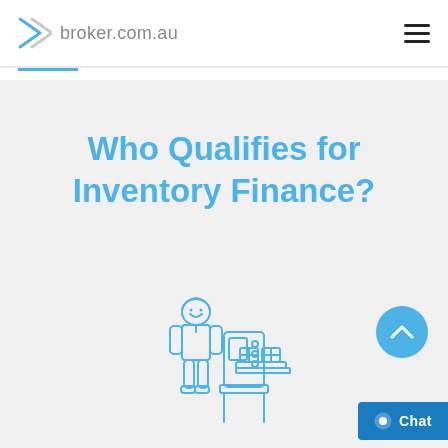broker.com.au
Who Qualifies for Inventory Finance?
[Figure (illustration): Blue line-art illustration of a worker/engineer in a hard hat standing next to industrial machinery with boxes on a table]
[Figure (other): Blue circular scroll-to-top button with upward chevron arrow]
[Figure (other): Blue Chat button with speech bubble icon in bottom right corner]